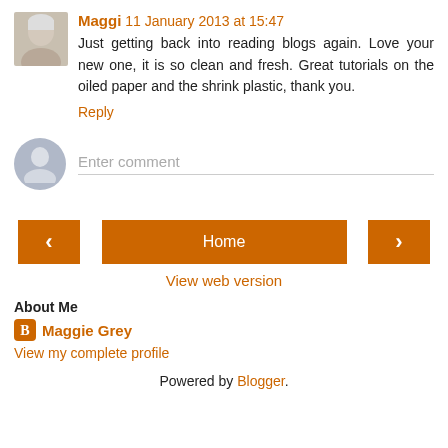[Figure (photo): Avatar photo of Maggi, elderly woman with short white/blonde hair]
Maggi  11 January 2013 at 15:47
Just getting back into reading blogs again. Love your new one, it is so clean and fresh. Great tutorials on the oiled paper and the shrink plastic, thank you.
Reply
[Figure (illustration): Generic user avatar placeholder (grey silhouette on blue-grey circle)]
Enter comment
[Figure (other): Navigation buttons: left arrow, Home, right arrow]
View web version
About Me
Maggie Grey
View my complete profile
Powered by Blogger.